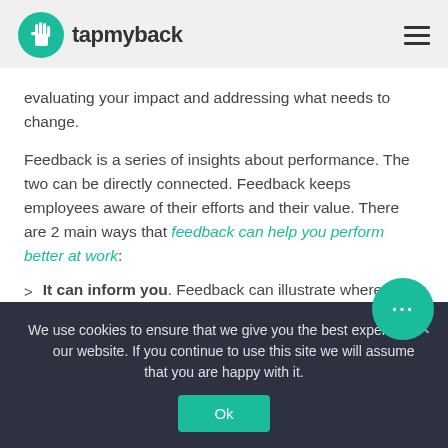tapmyback
evaluating your impact and addressing what needs to change.
Feedback is a series of insights about performance. The two can be directly connected. Feedback keeps employees aware of their efforts and their value. There are 2 main ways that feedback can help you perform better at work:
It can inform you. Feedback can illustrate where you need to improve or what behaviour is recommended for that
We use cookies to ensure that we give you the best experience on our website. If you continue to use this site we will assume that you are happy with it.